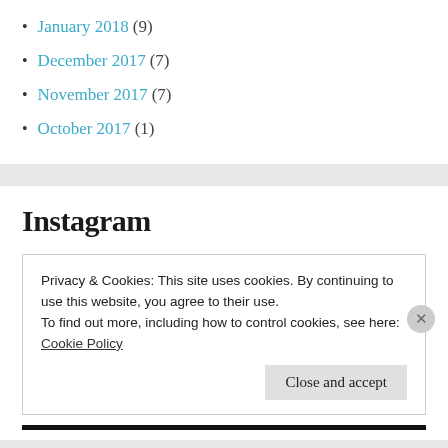January 2018 (9)
December 2017 (7)
November 2017 (7)
October 2017 (1)
Instagram
Privacy & Cookies: This site uses cookies. By continuing to use this website, you agree to their use.
To find out more, including how to control cookies, see here:
Cookie Policy
Close and accept